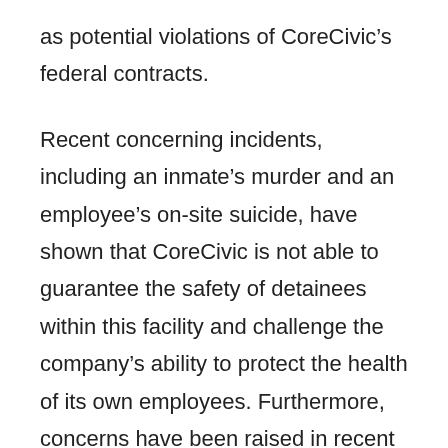as potential violations of CoreCivic's federal contracts.
Recent concerning incidents, including an inmate's murder and an employee's on-site suicide, have shown that CoreCivic is not able to guarantee the safety of detainees within this facility and challenge the company's ability to protect the health of its own employees. Furthermore, concerns have been raised in recent days regarding the standards to which the company holds its employees after it was revealed that a captain at the Nevada Southern Detention Center was active on a Neo-Nazi website. In fact, as recently as June 2017, the